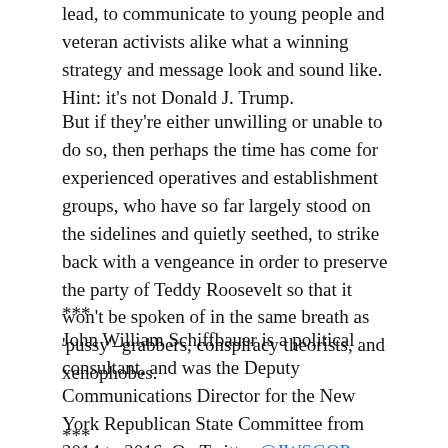lead, to communicate to young people and veteran activists alike what a winning strategy and message look and sound like. Hint: it's not Donald J. Trump.
But if they're either unwilling or unable to do so, then perhaps the time has come for experienced operatives and establishment groups, who have so far largely stood on the sidelines and quietly seethed, to strike back with a vengeance in order to preserve the party of Teddy Roosevelt so that it won't be spoken of in the same breath as 'pussy'–grabbers, conspiracy theorists, and xenophobes.
***
John William Schiffbauer is a political consultant, and was the Deputy Communications Director for the New York Republican State Committee from 2014 to 2016. On Twitter @JWSGOP.
***